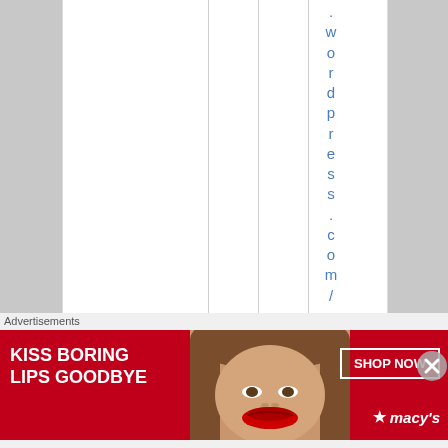[Figure (screenshot): A white document/webpage area showing a vertically-oriented hyperlink text reading '.wordpress.com/l' rendered letter-by-letter top-to-bottom in blue link color, with vertical column divider lines visible.]
Advertisements
[Figure (photo): A Macy's advertisement banner with red background. Left side shows bold white text 'KISS BORING LIPS GOODBYE'. Center shows a close-up photo of a woman's face focusing on lips with red lipstick. Right side shows 'SHOP NOW' button in white border and Macy's star logo.]